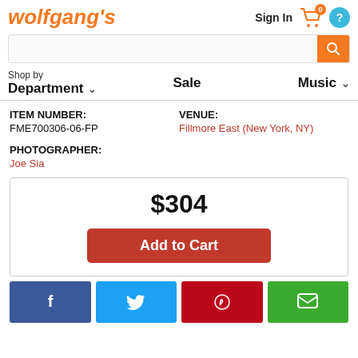wolfgang's
Sign In
[Figure (screenshot): Search bar with orange search button]
Shop by Department  Sale  Music
ITEM NUMBER: FME700306-06-FP
VENUE: Fillmore East (New York, NY)
PHOTOGRAPHER: Joe Sia
$304
Add to Cart
[Figure (other): Social share buttons: Facebook, Twitter, Pinterest, Message]